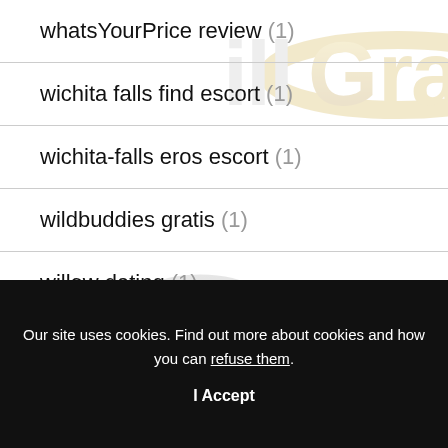WhatsYourPrice review (1)
wichita falls find escort (1)
wichita-falls eros escort (1)
wildbuddies gratis (1)
willow dating (1)
willow kosten (1)
willow web (1)
Our site uses cookies. Find out more about cookies and how you can refuse them.
I Accept